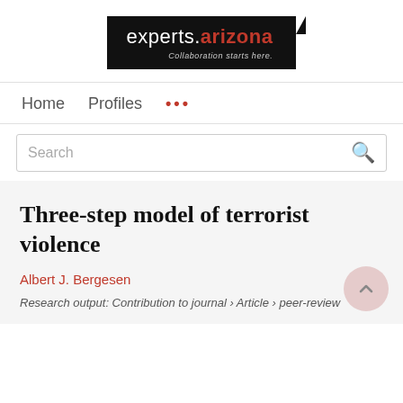[Figure (logo): experts.arizona logo — black background with white 'experts.' text and red 'arizona' text, tagline 'Collaboration starts here.']
Home   Profiles   ...
Search
Three-step model of terrorist violence
Albert J. Bergesen
Research output: Contribution to journal › Article › peer-review